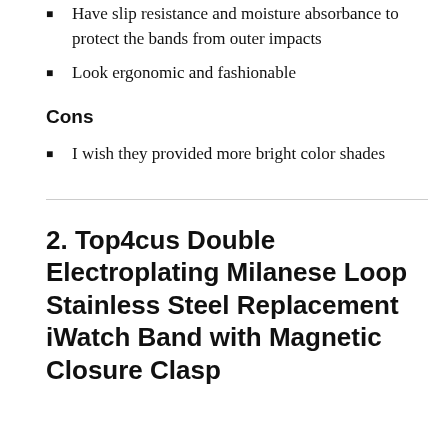Have slip resistance and moisture absorbance to protect the bands from outer impacts
Look ergonomic and fashionable
Cons
I wish they provided more bright color shades
2. Top4cus Double Electroplating Milanese Loop Stainless Steel Replacement iWatch Band with Magnetic Closure Clasp